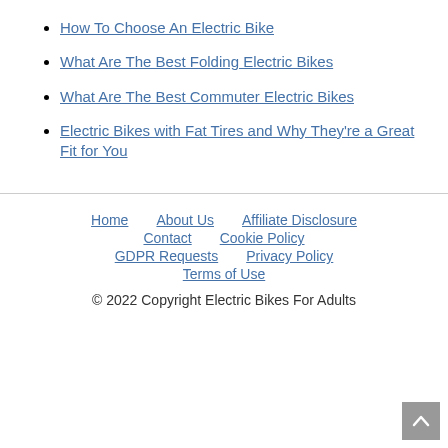How To Choose An Electric Bike
What Are The Best Folding Electric Bikes
What Are The Best Commuter Electric Bikes
Electric Bikes with Fat Tires and Why They're a Great Fit for You
Home  About Us  Affiliate Disclosure  Contact  Cookie Policy  GDPR Requests  Privacy Policy  Terms of Use
© 2022 Copyright Electric Bikes For Adults